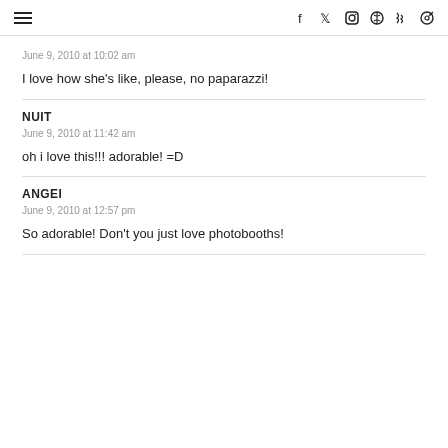≡  f  twitter  instagram  pinterest  rss  search
June 9, 2010 at 10:02 am
I love how she's like, please, no paparazzi!
NUIT
June 9, 2010 at 11:42 am
oh i love this!!! adorable! =D
ANGEI
June 9, 2010 at 12:57 pm
So adorable! Don't you just love photobooths!